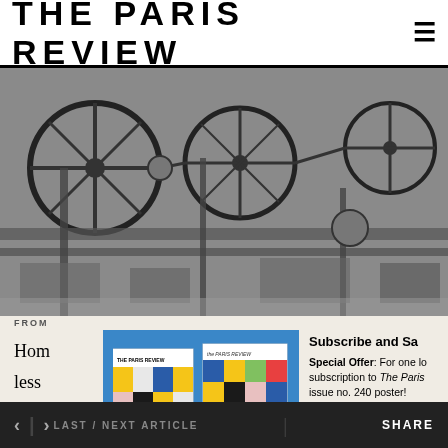THE PARIS REVIEW
[Figure (photo): Black and white photograph of industrial machinery with large wheels and mechanical gears]
FROM
Hor
less
civi
fort
exer
anta
[Figure (photo): Two issues of The Paris Review magazine with colorful geometric block covers on a blue background]
Subscribe and Sa
Special Offer: For one lo subscription to The Paris issue no. 240 poster!
Subscribe Now
slender, scalding diatribe that brought Moya death
< > LAST / NEXT ARTICLE    SHARE